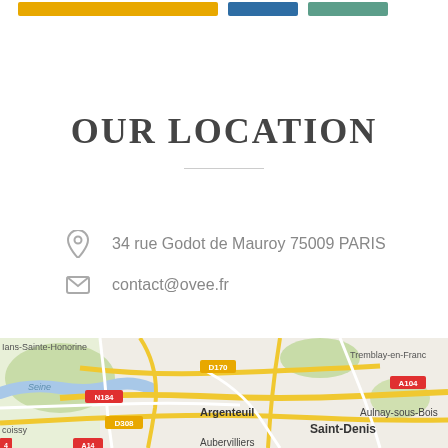[Figure (screenshot): Top navigation bar with three buttons: yellow, blue, and teal]
OUR LOCATION
34 rue Godot de Mauroy 75009 PARIS
contact@ovee.fr
[Figure (map): Google Maps view of Paris region showing Argenteuil, Saint-Denis, Aulnay-sous-Bois, Tremblay-en-France, roads N184, D308, D170, A104, and the Seine river. Labels: Ians-Sainte-Honorine, Tremblay-en-Franc, Argenteuil, Saint-Denis, Aulnay-sous-Bois, coissy, Aubervilliers]